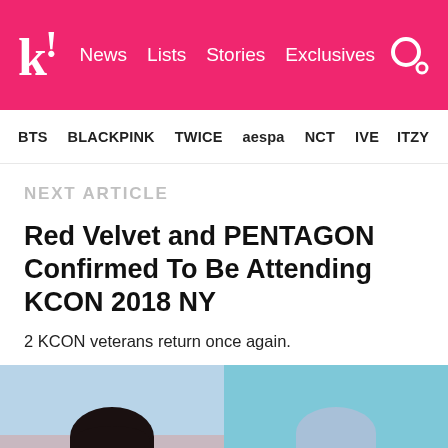k! News Lists Stories Exclusives
BTS BLACKPINK TWICE aespa NCT IVE ITZY
NEXT ARTICLE
Red Velvet and PENTAGON Confirmed To Be Attending KCON 2018 NY
2 KCON veterans return once again.
[Figure (photo): Two side-by-side photos: left shows a female K-pop artist smiling and holding a microphone with a gloved hand; right shows a male K-pop artist with silver-blue hair.]